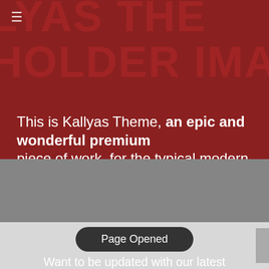[Figure (screenshot): Hero banner with dark red background and large semi-transparent placeholder text reading 'LYAS THE PLACEHOLDER IMAGE PE'. A hamburger menu icon is visible in the top-left corner.]
This is Kallyas Theme, an epic and wonderful premium piece of work, for the typical modern website.
Page Opened
Want to be updated with our latest